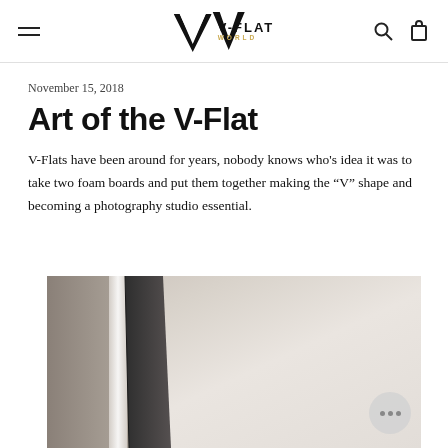V-FLAT WORLD
November 15, 2018
Art of the V-Flat
V-Flats have been around for years, nobody knows who’s idea it was to take two foam boards and put them together making the “V” shape and becoming a photography studio essential.
[Figure (photo): A V-Flat (two foam boards in a V shape) photographed in a studio against a light grey background, showing the dark folded panel edges.]